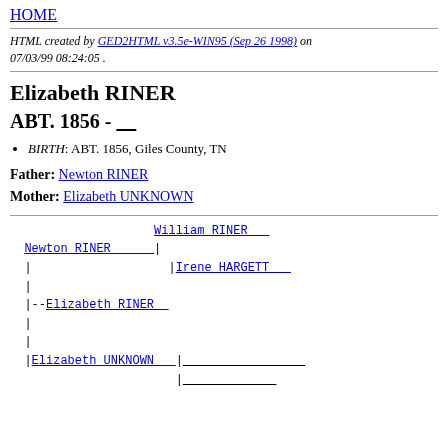HOME
HTML created by GED2HTML v3.5e-WIN95 (Sep 26 1998) on 07/03/99 08:24:05 .
Elizabeth RINER
ABT. 1856 - ____
BIRTH: ABT. 1856, Giles County, TN
Father: Newton RINER
Mother: Elizabeth UNKNOWN
[Figure (other): Genealogy pedigree tree showing Elizabeth RINER with parents Newton RINER and Elizabeth UNKNOWN, and grandparents William RINER and Irene HARGETT]